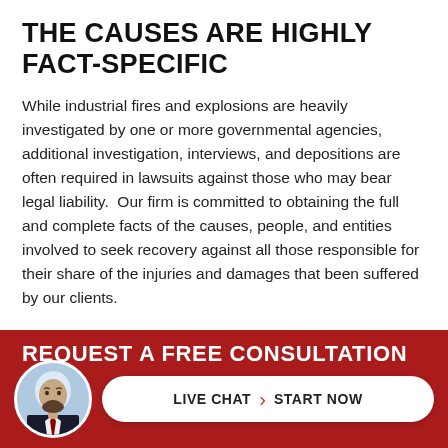THE CAUSES ARE HIGHLY FACT-SPECIFIC
While industrial fires and explosions are heavily investigated by one or more governmental agencies, additional investigation, interviews, and depositions are often required in lawsuits against those who may bear legal liability.  Our firm is committed to obtaining the full and complete facts of the causes, people, and entities involved to seek recovery against all those responsible for their share of the injuries and damages that been suffered by our clients.
[Figure (infographic): Dark red banner with bold white text 'REQUEST A FREE CONSULTATION', a circular avatar photo of a bearded man in a suit, and a white pill-shaped button reading 'LIVE CHAT › START NOW']